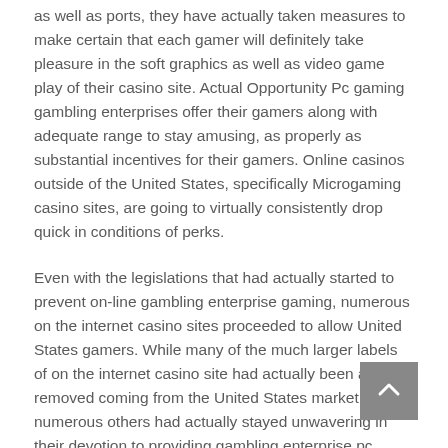as well as ports, they have actually taken measures to make certain that each gamer will definitely take pleasure in the soft graphics as well as video game play of their casino site. Actual Opportunity Pc gaming gambling enterprises offer their gamers along with adequate range to stay amusing, as properly as substantial incentives for their gamers. Online casinos outside of the United States, specifically Microgaming casino sites, are going to virtually consistently drop quick in conditions of perks.
Even with the legislations that had actually started to prevent on-line gambling enterprise gaming, numerous on the internet casino sites proceeded to allow United States gamers. While many of the much larger labels of on the internet casino site had actually been actually removed coming from the United States market, numerous others had actually stayed unwavering in their devotion to providing gambling enterprise pc gaming to the United States market. That having actually been actually mentioned, those on the web gambling enterprises have actually